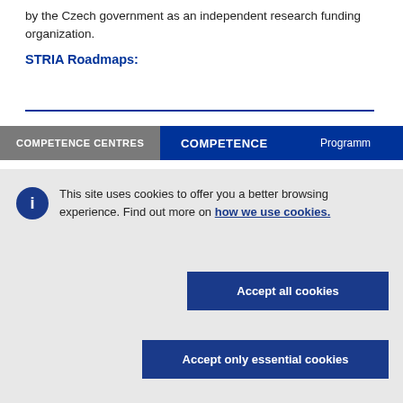by the Czech government as an independent research funding organization.
STRIA Roadmaps:
COMPETENCE CENTRES   COMPETENCE   Programme
This site uses cookies to offer you a better browsing experience. Find out more on how we use cookies.
Accept all cookies
Accept only essential cookies